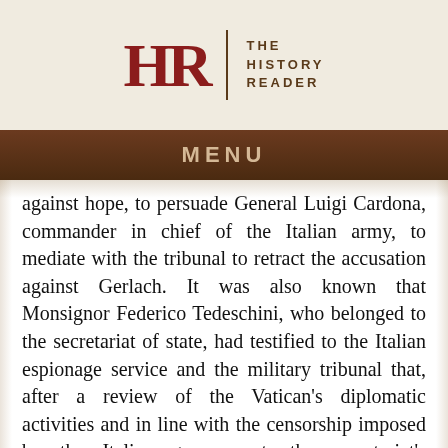HR | THE HISTORY READER
MENU
against hope, to persuade General Luigi Cardona, commander in chief of the Italian army, to mediate with the tribunal to retract the accusation against Gerlach. It was also known that Monsignor Federico Tedeschini, who belonged to the secretariat of state, had testified to the Italian espionage service and the military tribunal that, after a review of the Vatican's diplomatic activities and in line with the censorship imposed by the Italian government, the secretariat's correspondence with the nations of the Central Powers had been restricted. Tedeschini admitted that, beginning in late 1915 and early 1916, Monsignor Gerlach had carried on an extensive correspondence with Matthias Erzberger and Franz von Stockhammern, both recognized as German